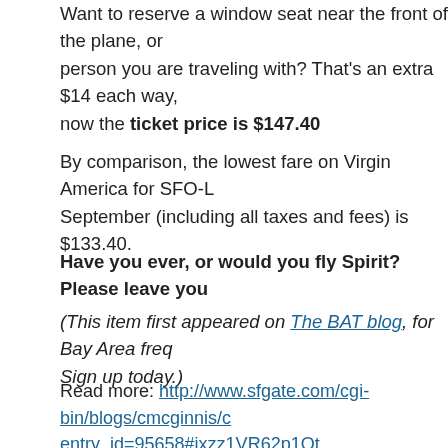Want to reserve a window seat near the front of the plane, or sit next to the person you are traveling with? That's an extra $14 each way. So now the ticket price is $147.40
By comparison, the lowest fare on Virgin America for SFO-L… September (including all taxes and fees) is $133.40.
Have you ever, or would you fly Spirit? Please leave you…
(This item first appeared on The BAT blog, for Bay Area freq… Sign up today.)
Read more: http://www.sfgate.com/cgi-bin/blogs/cmcginnis/c… entry_id=95658#ixzz1VR62p1Ot
Travel
← 8 Dumbest Restaurant Laws   Kat Von D and Jess…